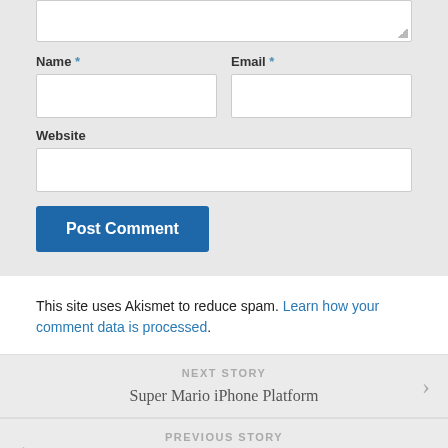Name * | Email *
Website
Post Comment
This site uses Akismet to reduce spam. Learn how your comment data is processed.
NEXT STORY
Super Mario iPhone Platform
PREVIOUS STORY
A New Perspective